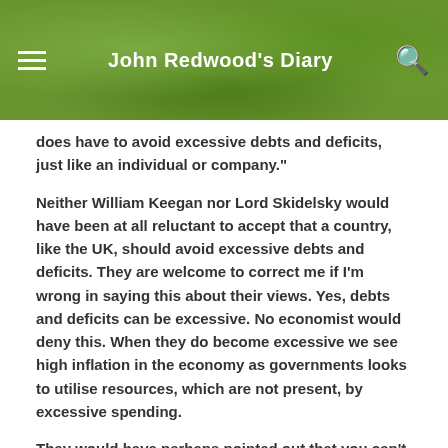John Redwood's Diary
does have to avoid excessive debts and deficits, just like an individual or company."
Neither William Keegan nor Lord Skidelsky would have been at all reluctant to accept that a country, like the UK, should avoid excessive debts and deficits. They are welcome to correct me if I'm wrong in saying this about their views. Yes, debts and deficits can be excessive. No economist would deny this. When they do become excessive we see high inflation in the economy as governments looks to utilise resources, which are not present, by excessive spending.
They would have perhaps pointed out that you can't compare the economics of a currency issuer , like the UK or US government, with currency users, like you and I or companies